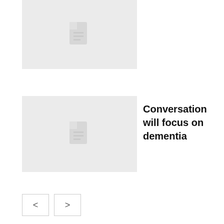[Figure (illustration): Thumbnail placeholder card at top with document icon on grey background, partially visible]
[Figure (illustration): Thumbnail placeholder card with document icon on grey background]
Conversation will focus on dementia
[Figure (illustration): Pagination buttons with left and right arrow chevrons]
Sponsored
[Figure (illustration): Sponsored advertisement illustration showing cockroaches in a kitchen drawer with a green sticky trap and utensils]